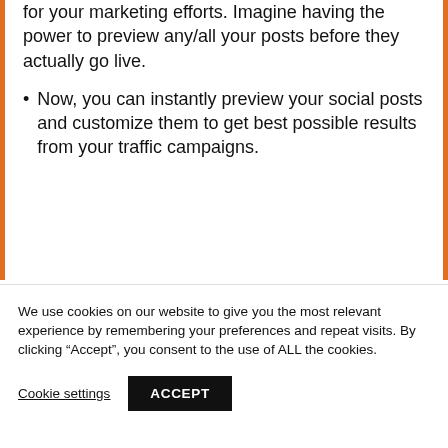for your marketing efforts. Imagine having the power to preview any/all your posts before they actually go live.
Now, you can instantly preview your social posts and customize them to get best possible results from your traffic campaigns.
We use cookies on our website to give you the most relevant experience by remembering your preferences and repeat visits. By clicking “Accept”, you consent to the use of ALL the cookies.
Cookie settings   ACCEPT